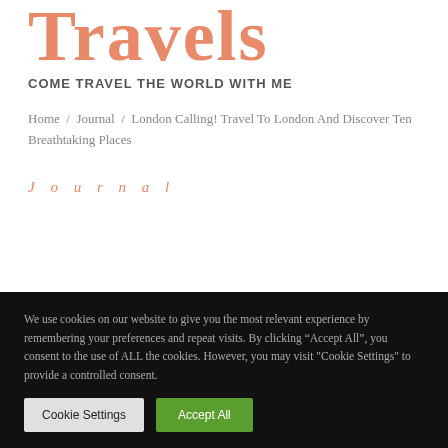Travels
COME TRAVEL THE WORLD WITH ME
Home / Journal / London Calling! Travel To London And Discover Ten Breathtaking Places
Journal
We use cookies on our website to give you the most relevant experience by remembering your preferences and repeat visits. By clicking "Accept All", you consent to the use of ALL the cookies. However, you may visit "Cookie Settings" to provide a controlled consent.
Cookie Settings | Accept All